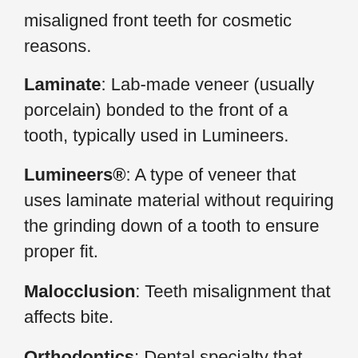misaligned front teeth for cosmetic reasons.
Laminate: Lab-made veneer (usually porcelain) bonded to the front of a tooth, typically used in Lumineers.
Lumineers®: A type of veneer that uses laminate material without requiring the grinding down of a tooth to ensure proper fit.
Malocclusion: Teeth misalignment that affects bite.
Orthodontics: Dental specialty that concerns teeth alignment.
Porcelain: A ceramic material made by heating clay-like materials to high temperatures. In dentistry, porcelain is commonly used in dental veneers.